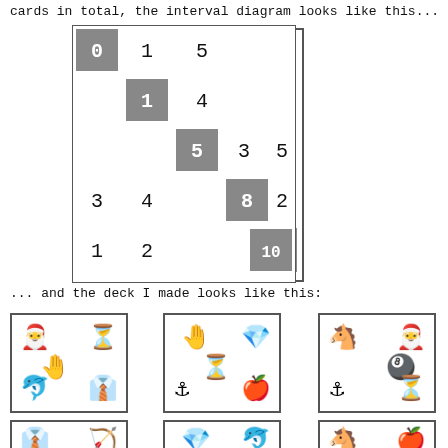cards in total, the interval diagram looks like this...
[Figure (other): Interval diagram: a staircase-pattern grid with gray diagonal cells containing numbers (0, 1, 5, 8, 10) and plain cells with numbers (1, 5, 4, 3, 5, 3, 4, 2, 1, 2) showing interval relationships.]
... and the deck I made looks like this:
[Figure (other): Card 1 with emoji: santa, hourglass, hand, dolphin, tie]
[Figure (other): Card 2 with emoji: hand, diamond, hourglass, anchor, apple]
[Figure (other): Card 3 with emoji: horse, santa, 8ball, anchor, hourglass]
[Figure (other): Card 4 partial with emoji: tie, bow and arrow]
[Figure (other): Card 5 partial with emoji: diamond, dolphin]
[Figure (other): Card 6 partial with emoji: horse, apple]